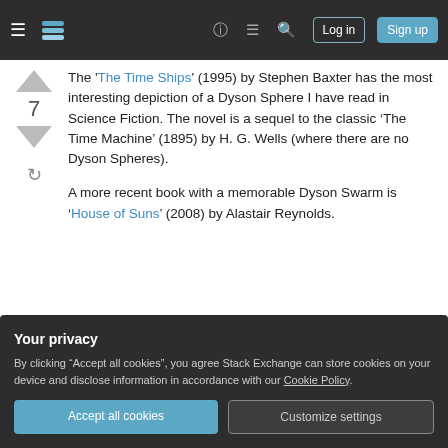Stack Exchange navigation bar with hamburger, logo, help, chat, search, Log in, Sign up
The 'The Time Ships' (1995) by Stephen Baxter has the most interesting depiction of a Dyson Sphere I have read in Science Fiction. The novel is a sequel to the classic ‘The Time Machine’ (1895) by H. G. Wells (where there are no Dyson Spheres).
A more recent book with a memorable Dyson Swarm is ‘House of Suns’ (2008) by Alastair Reynolds.
Share   edited Nov 22, 2012 at 0:33
Your privacy
By clicking “Accept all cookies”, you agree Stack Exchange can store cookies on your device and disclose information in accordance with our Cookie Policy.
Accept all cookies   Customize settings